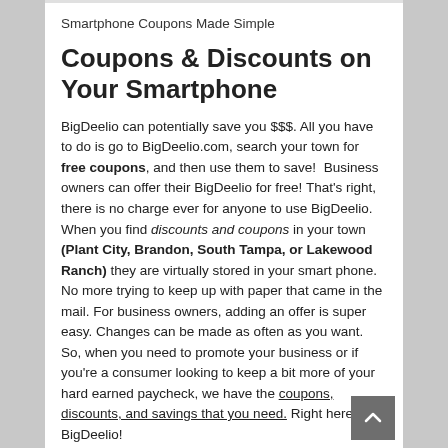Smartphone Coupons Made Simple
Coupons & Discounts on Your Smartphone
BigDeelio can potentially save you $$$. All you have to do is go to BigDeelio.com, search your town for free coupons, and then use them to save!  Business owners can offer their BigDeelio for free! That's right, there is no charge ever for anyone to use BigDeelio. When you find discounts and coupons in your town (Plant City, Brandon, South Tampa, or Lakewood Ranch) they are virtually stored in your smart phone. No more trying to keep up with paper that came in the mail. For business owners, adding an offer is super easy. Changes can be made as often as you want. So, when you need to promote your business or if you're a consumer looking to keep a bit more of your hard earned paycheck, we have the coupons, discounts, and savings that you need. Right here, at BigDeelio!